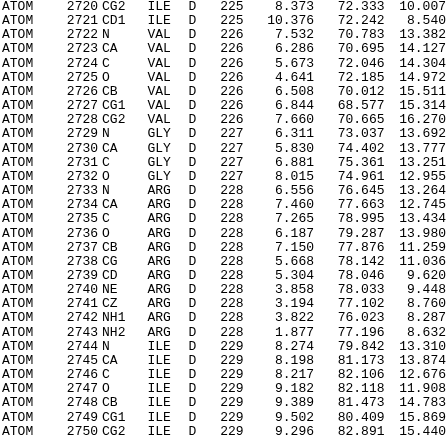| Record | Serial | Name | Res | Chain | Seq | X | Y | Z |
| --- | --- | --- | --- | --- | --- | --- | --- | --- |
| ATOM | 2720 | CG2 | ILE | D | 225 | 8.373 | 72.333 | 10.007 |
| ATOM | 2721 | CD1 | ILE | D | 225 | 10.376 | 72.242 | 8.540 |
| ATOM | 2722 | N | VAL | D | 226 | 7.532 | 70.783 | 13.382 |
| ATOM | 2723 | CA | VAL | D | 226 | 6.286 | 70.695 | 14.127 |
| ATOM | 2724 | C | VAL | D | 226 | 5.673 | 72.046 | 14.304 |
| ATOM | 2725 | O | VAL | D | 226 | 4.641 | 72.185 | 14.972 |
| ATOM | 2726 | CB | VAL | D | 226 | 6.508 | 70.012 | 15.511 |
| ATOM | 2727 | CG1 | VAL | D | 226 | 6.844 | 68.577 | 15.314 |
| ATOM | 2728 | CG2 | VAL | D | 226 | 7.660 | 70.665 | 16.270 |
| ATOM | 2729 | N | GLY | D | 227 | 6.311 | 73.037 | 13.692 |
| ATOM | 2730 | CA | GLY | D | 227 | 5.830 | 74.402 | 13.777 |
| ATOM | 2731 | C | GLY | D | 227 | 6.881 | 75.361 | 13.251 |
| ATOM | 2732 | O | GLY | D | 227 | 8.015 | 74.961 | 12.955 |
| ATOM | 2733 | N | ARG | D | 228 | 6.556 | 76.645 | 13.264 |
| ATOM | 2734 | CA | ARG | D | 228 | 7.460 | 77.663 | 12.745 |
| ATOM | 2735 | C | ARG | D | 228 | 7.265 | 78.995 | 13.434 |
| ATOM | 2736 | O | ARG | D | 228 | 6.187 | 79.287 | 13.980 |
| ATOM | 2737 | CB | ARG | D | 228 | 7.150 | 77.876 | 11.259 |
| ATOM | 2738 | CG | ARG | D | 228 | 5.668 | 78.142 | 11.036 |
| ATOM | 2739 | CD | ARG | D | 228 | 5.304 | 78.046 | 9.620 |
| ATOM | 2740 | NE | ARG | D | 228 | 3.858 | 78.033 | 9.448 |
| ATOM | 2741 | CZ | ARG | D | 228 | 3.194 | 77.102 | 8.760 |
| ATOM | 2742 | NH1 | ARG | D | 228 | 3.822 | 76.023 | 8.287 |
| ATOM | 2743 | NH2 | ARG | D | 228 | 1.877 | 77.196 | 8.632 |
| ATOM | 2744 | N | ILE | D | 229 | 8.274 | 79.842 | 13.310 |
| ATOM | 2745 | CA | ILE | D | 229 | 8.198 | 81.173 | 13.874 |
| ATOM | 2746 | C | ILE | D | 229 | 8.217 | 82.106 | 12.676 |
| ATOM | 2747 | O | ILE | D | 229 | 9.182 | 82.118 | 11.908 |
| ATOM | 2748 | CB | ILE | D | 229 | 9.389 | 81.473 | 14.783 |
| ATOM | 2749 | CG1 | ILE | D | 229 | 9.502 | 80.409 | 15.869 |
| ATOM | 2750 | CG2 | ILE | D | 229 | 9.296 | 82.891 | 15.440 |